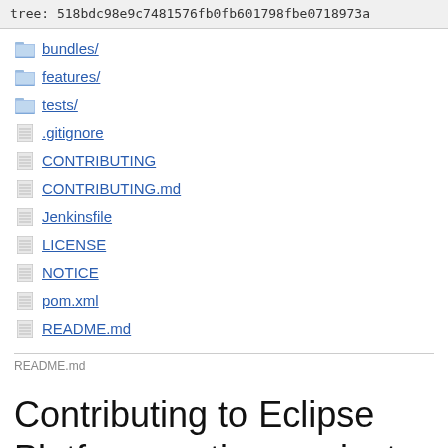tree: 518bdc98e9c7481576fb0fb601798fbe0718973a
bundles/
features/
tests/
.gitignore
CONTRIBUTING
CONTRIBUTING.md
Jenkinsfile
LICENSE
NOTICE
pom.xml
README.md
README.md
Contributing to Eclipse Platform runtime project